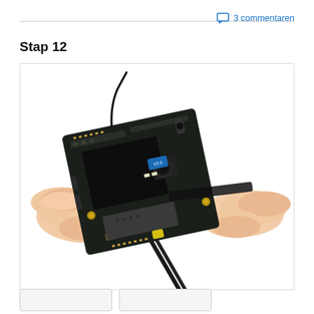3 commentaren
Stap 12
[Figure (photo): Hands disassembling a smartphone motherboard. Left hand holds the PCB while the right hand uses tweezers to peel off a ribbon flex cable from the board.]